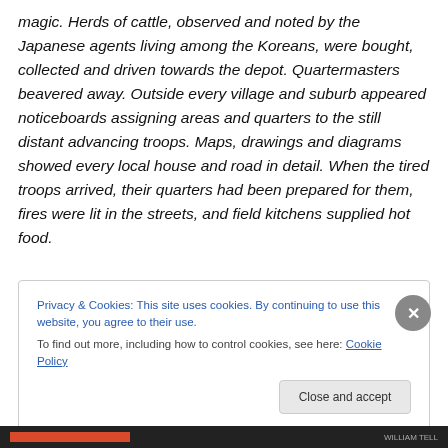magic. Herds of cattle, observed and noted by the Japanese agents living among the Koreans, were bought, collected and driven towards the depot. Quartermasters beavered away. Outside every village and suburb appeared noticeboards assigning areas and quarters to the still distant advancing troops. Maps, drawings and diagrams showed every local house and road in detail. When the tired troops arrived, their quarters had been prepared for them, fires were lit in the streets, and field kitchens supplied hot food.
Privacy & Cookies: This site uses cookies. By continuing to use this website, you agree to their use. To find out more, including how to control cookies, see here: Cookie Policy
Close and accept